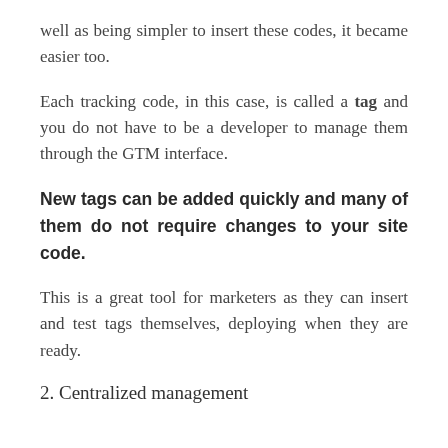well as being simpler to insert these codes, it became easier too.
Each tracking code, in this case, is called a tag and you do not have to be a developer to manage them through the GTM interface.
New tags can be added quickly and many of them do not require changes to your site code.
This is a great tool for marketers as they can insert and test tags themselves, deploying when they are ready.
2. Centralized management